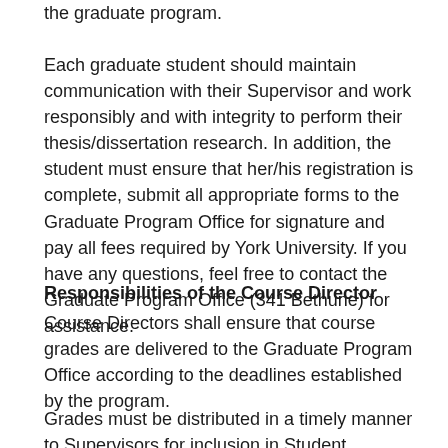the graduate program.
Each graduate student should maintain communication with their Supervisor and work responsibly and with integrity to perform their thesis/dissertation research. In addition, the student must ensure that her/his registration is complete, submit all appropriate forms to the Graduate Program Office for signature and pay all fees required by York University. If you have any questions, feel free to contact the Graduate Program Office (341 Bethune) for assistance.
Responsibilities of the Course Director
Course Directors shall ensure that course grades are delivered to the Graduate Program Office according to the deadlines established by the program.
Grades must be distributed in a timely manner to Supervisors for inclusion in Student Evaluation and